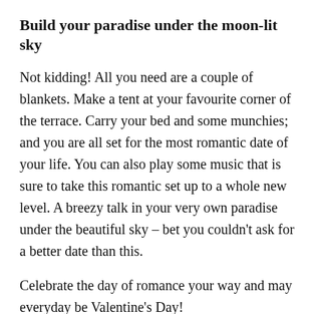Build your paradise under the moon-lit sky
Not kidding! All you need are a couple of blankets. Make a tent at your favourite corner of the terrace. Carry your bed and some munchies; and you are all set for the most romantic date of your life. You can also play some music that is sure to take this romantic set up to a whole new level. A breezy talk in your very own paradise under the beautiful sky – bet you couldn't ask for a better date than this.
Celebrate the day of romance your way and may everyday be Valentine's Day!